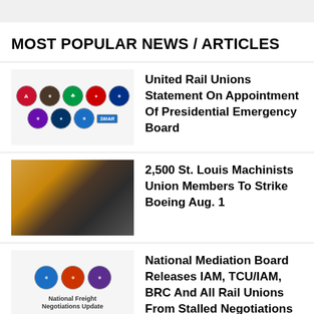MOST POPULAR NEWS / ARTICLES
[Figure (illustration): Union logos grid - multiple rail union emblems including IAMAW, TCU, SMART, and others]
United Rail Unions Statement On Appointment Of Presidential Emergency Board
[Figure (photo): Group of Machinists union members standing in front of Boeing aircraft]
2,500 St. Louis Machinists Union Members To Strike Boeing Aug. 1
[Figure (illustration): National Freight Negotiations Update logos - IAM, TCU/IAM, BRC circular emblems]
National Mediation Board Releases IAM, TCU/IAM, BRC And All Rail Unions From Stalled Negotiations With Rail
[Figure (photo): Partial view of yellow/gold Machinists union related image]
Machinists Union Recommends